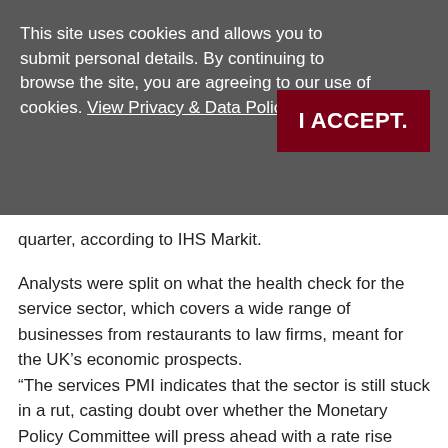This site uses cookies and allows you to submit personal details. By continuing to browse the site, you are agreeing to our use of cookies. View Privacy & Data Policy.
I ACCEPT.
quarter, according to IHS Markit.
Analysts were split on what the health check for the service sector, which covers a wide range of businesses from restaurants to law firms, meant for the UK's economic prospects.
“The services PMI indicates that the sector is still stuck in a rut, casting doubt over whether the Monetary Policy Committee will press ahead with a rate rise ‘over the coming months,’” said Samuel Tombs, chief UK economist at Pantheon Macroeconomics.
But another economist, Paul Hollingsworth of Capital